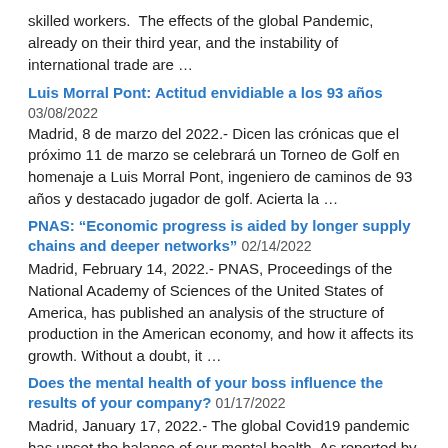skilled workers. The effects of the global Pandemic, already on their third year, and the instability of international trade are …
Luis Morral Pont: Actitud envidiable a los 93 años 03/08/2022
Madrid, 8 de marzo del 2022.- Dicen las crónicas que el próximo 11 de marzo se celebrará un Torneo de Golf en homenaje a Luis Morral Pont, ingeniero de caminos de 93 años y destacado jugador de golf. Acierta la …
PNAS: "Economic progress is aided by longer supply chains and deeper networks" 02/14/2022
Madrid, February 14, 2022.- PNAS, Proceedings of the National Academy of Sciences of the United States of America, has published an analysis of the structure of production in the American economy, and how it affects its growth. Without a doubt, it …
Does the mental health of your boss influence the results of your company? 01/17/2022
Madrid, January 17, 2022.- The global Covid19 pandemic has upset the balance of our mental health. As reported by Sanitas (Spain's largest & fastest growing medical insurance company) visits to the psychiatrist have multiplied by 22 in recent months. In this context, …